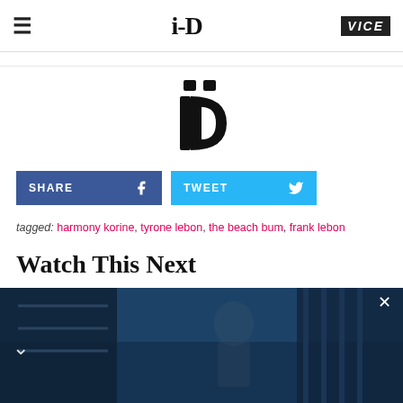i-D | VICE
[Figure (logo): i-D magazine logo centered, stylized with dots]
[Figure (infographic): SHARE button (Facebook blue with f icon) and TWEET button (sky blue with bird icon)]
tagged: harmony korine, tyrone lebon, the beach bum, frank lebon
Watch This Next
[Figure (screenshot): Dark bluish video thumbnail with a person visible, close (X) button top right, left chevron arrow]